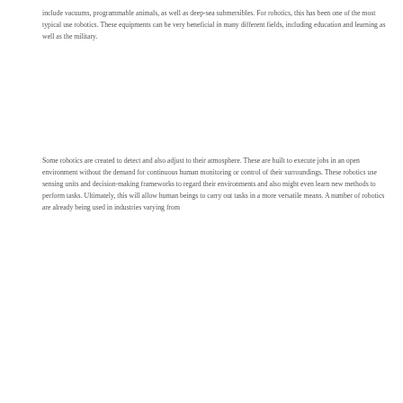include vacuums, programmable animals, as well as deep-sea submersibles. For robotics, this has been one of the most typical use robotics. These equipments can be very beneficial in many different fields, including education and learning as well as the military.
Some robotics are created to detect and also adjust to their atmosphere. These are built to execute jobs in an open environment without the demand for continuous human monitoring or control of their surroundings. These robotics use sensing units and decision-making frameworks to regard their environments and also might even learn new methods to perform tasks. Ultimately, this will allow human beings to carry out tasks in a more versatile means. A number of robotics are already being used in industries varying from